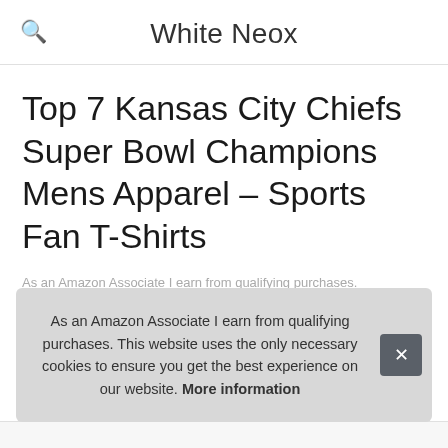White Neox
Top 7 Kansas City Chiefs Super Bowl Champions Mens Apparel – Sports Fan T-Shirts
As an Amazon Associate I earn from qualifying purchases.
1. Sports Memorabilia
#ad
As an Amazon Associate I earn from qualifying purchases. This website uses the only necessary cookies to ensure you get the best experience on our website. More information